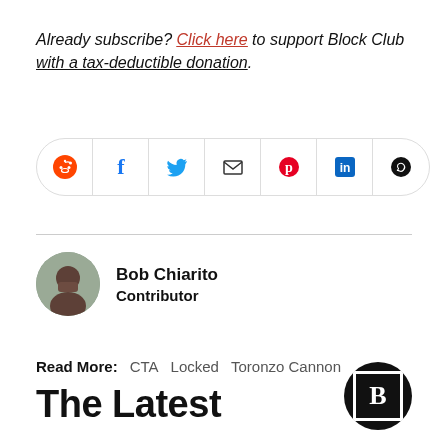Already subscribe? Click here to support Block Club with a tax-deductible donation.
[Figure (other): Social share bar with icons: Reddit, Facebook, Twitter, Email, Pinterest, LinkedIn, WhatsApp]
[Figure (photo): Author avatar photo of Bob Chiarito]
Bob Chiarito
Contributor
Read More: CTA  Locked  Toronzo Cannon
The Latest
[Figure (logo): Block Club Chicago logo — white B in square border inside black circle]